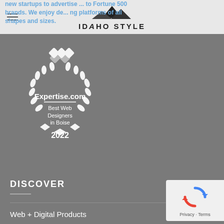Idaho Style — navigation header with logo
new startups to advertise... to Fortune 500 brands. We enjoy designing... platforms of all shapes and sizes.
[Figure (logo): Expertise.com Best Web Designers in Boise 2022 award badge — white wreath and chain-link diamond logo on grey background]
DISCOVER
Web + Digital Products
Meet Us
[Figure (other): Google reCAPTCHA widget showing blue/red arrow logo with Privacy and Terms links]